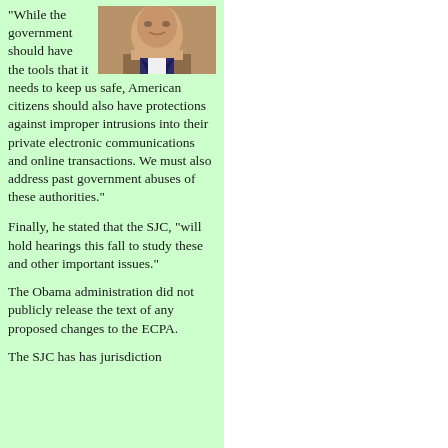[Figure (photo): Cropped photograph of a man in a suit, smiling, with a warm background]
"While the government should have the tools that it needs to keep us safe, American citizens should also have protections against improper intrusions into their private electronic communications and online transactions. We must also address past government abuses of these authorities."
Finally, he stated that the SJC, "will hold hearings this fall to study these and other important issues."
The Obama administration did not publicly release the text of any proposed changes to the ECPA.
The SJC has has jurisdiction